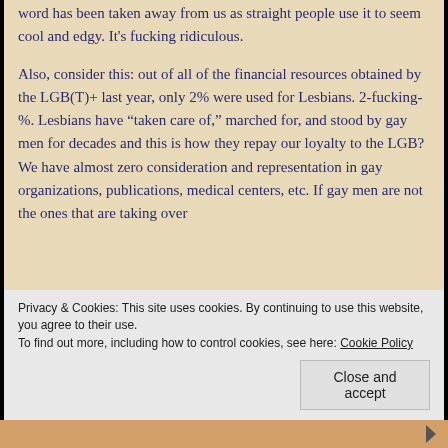word has been taken away from us as straight people use it to seem cool and edgy. It's fucking ridiculous.
Also, consider this: out of all of the financial resources obtained by the LGB(T)+ last year, only 2% were used for Lesbians. 2-fucking-%. Lesbians have “taken care of,” marched for, and stood by gay men for decades and this is how they repay our loyalty to the LGB? We have almost zero consideration and representation in gay organizations, publications, medical centers, etc. If gay men are not the ones that are taking over
Privacy & Cookies: This site uses cookies. By continuing to use this website, you agree to their use.
To find out more, including how to control cookies, see here: Cookie Policy
Close and accept